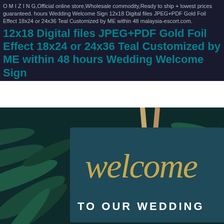O M I Z I N G,Official online store,Wholesale commodity,Ready to ship + lowest prices guaranteed. hours Wedding Welcome Sign 12x18 Digital files JPEG+PDF Gold Foil Effect 18x24 or 24x36 Teal Customized by ME within 48 malaysia-escort.com.
12x18 Digital files JPEG+PDF Gold Foil Effect 18x24 or 24x36 Teal Customized by ME within 48 hours Wedding Welcome Sign
[Figure (photo): Photo of a teal/dark green wedding welcome sign with gold foil script text reading 'welcome' and below it 'TO OUR WEDDING' in white sans-serif letters, surrounded by tropical palm leaf greenery background]